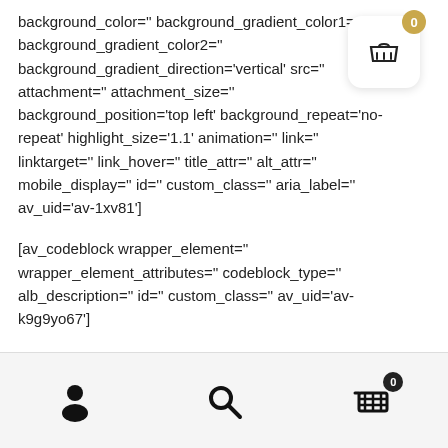background_color='' background_gradient_color1= background_gradient_color2='' background_gradient_direction='vertical' src='' attachment='' attachment_size='' background_position='top left' background_repeat='no-repeat' highlight_size='1.1' animation='' link='' linktarget='' link_hover='' title_attr='' alt_attr='' mobile_display='' id='' custom_class='' aria_label='' av_uid='av-1xv81']
[av_codeblock wrapper_element='' wrapper_element_attributes='' codeblock_type='' alb_description='' id='' custom_class='' av_uid='av-k9g9yo67']
[Figure (other): Shopping cart icon with badge showing 0, white rounded square background with shadow, top right corner]
[Figure (other): Bottom navigation bar with person/user icon, search/magnifying glass icon, and shopping cart icon with badge showing 0]